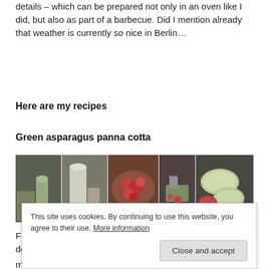details – which can be prepared not only in an oven like I did, but also as part of a barbecue. Did I mention already that weather is currently so nice in Berlin…
Here are my recipes
Green asparagus panna cotta
[Figure (photo): A strip of five food photography images showing ingredients and finished panna cotta dessert with strawberries and green asparagus cream.]
For two servings, clean 100 g of green asparagus – you don't
milk) for a smoother consistency, but it's fine with milk as well
This site uses cookies. By continuing to use this website, you agree to their use. More information
Close and accept